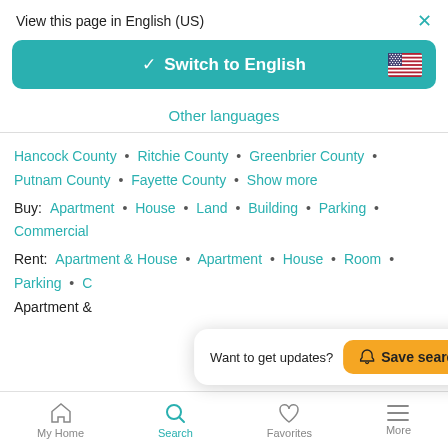View this page in English (US)
[Figure (infographic): Teal rounded button with checkmark icon, text 'Switch to English', and US flag icon on the right]
Other languages
Hancock County · Ritchie County · Greenbrier County · Putnam County · Fayette County · Show more
Buy: Apartment · House · Land · Building · Parking · Commercial
Rent: Apartment & House · Apartment · House · Room · Parking · C…
Apartment &
Want to get updates? Save search
My Home  Search  Favorites  More